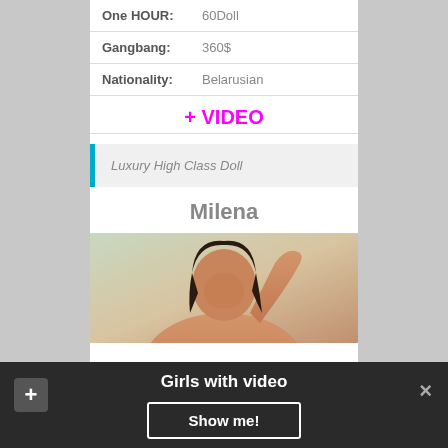| One HOUR: | 60Doll |
| Gangbang: | 360$ |
| Nationality: | Belarusian |
+ VIDEO
Luxury High Class Doll
Milena
[Figure (photo): Photo of a woman with dark hair, hand raised to head, light background]
Girls with video  Show me!